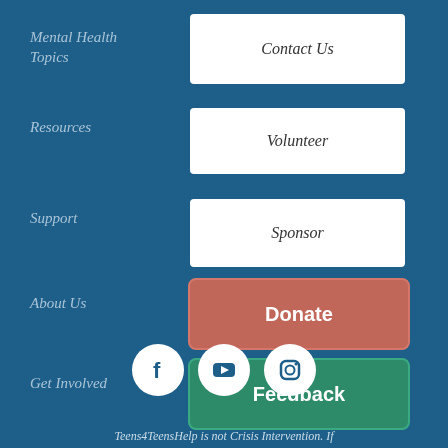Mental Health Topics
Contact Us
Resources
Volunteer
Support
Sponsor
About Us
Donate
Get Involved
Feedback
[Figure (infographic): Social media icons: Facebook, YouTube, Instagram in white circles on blue background]
Teens4TeensHelp is not Crisis Intervention. If